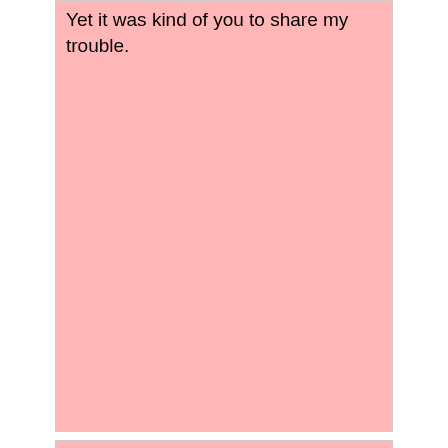Yet it was kind of you to share my trouble.
2 Corinthians 1:16
I wanted to visit you on my way to Macedonia, and to come back to you from Macedonia and have you send me on my way to Judea.
Romans 15:24
I hope to see you in passing as I go to